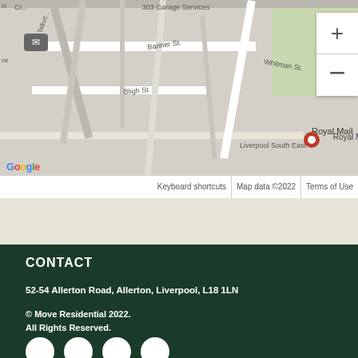[Figure (map): Google Maps screenshot showing streets including Banner St, Bligh St, Whitman St, with Royal Mail Liverpool South East marker and Google logo, zoom controls, map data copyright 2022]
CONTACT
52-54 Allerton Road, Allerton, Liverpool, L18 1LN
© Move Residential 2022.
All Rights Reserved.
[Figure (other): Social media icon circles (partial, cut off at bottom of page)]